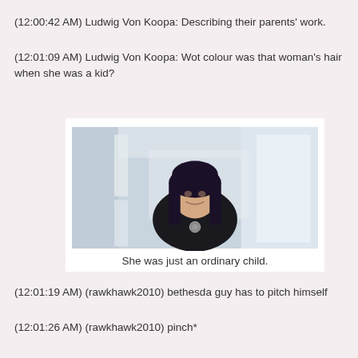(12:00:42 AM) Ludwig Von Koopa: Describing their parents' work.
(12:01:09 AM) Ludwig Von Koopa: Wot colour was that woman's hair when she was a kid?
[Figure (photo): A woman with dark blue/purple hair wearing a black top with a brooch, standing in a bright corridor or hallway. Caption reads: She was just an ordinary child.]
She was just an ordinary child.
(12:01:19 AM) (rawkhawk2010) bethesda guy has to pitch himself
(12:01:26 AM) (rawkhawk2010) pinch*